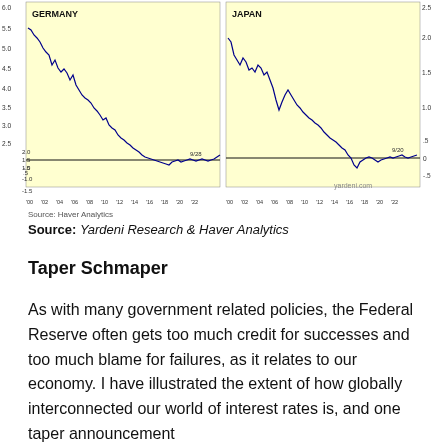[Figure (continuous-plot): Germany bond yield line chart from 2000 to 2022, y-axis ranges from -1.5 to 6.0, showing steep decline from ~5.5 in 2000 to negative territory near 2020s, labeled GERMANY, with annotation 9/28]
[Figure (continuous-plot): Japan bond yield line chart from 2000 to 2022, y-axis ranges from -0.5 to 2.5, showing decline from ~4.0 in 2000 to near 0, labeled JAPAN, with annotation 9/20 and yardeni.com watermark]
Source: Haver Analytics
Source: Yardeni Research & Haver Analytics
Taper Schmaper
As with many government related policies, the Federal Reserve often gets too much credit for successes and too much blame for failures, as it relates to our economy. I have illustrated the extent of how globally interconnected our world of interest rates is, and one taper announcement